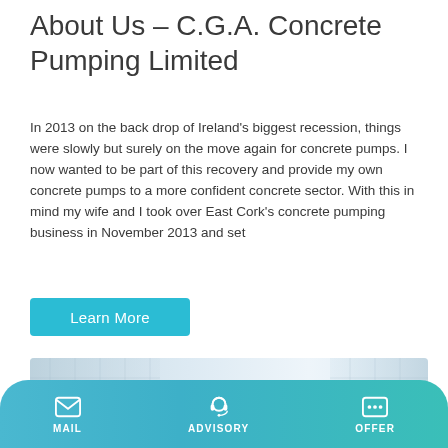About Us – C.G.A. Concrete Pumping Limited
In 2013 on the back drop of Ireland's biggest recession, things were slowly but surely on the move again for concrete pumps. I now wanted to be part of this recovery and provide my own concrete pumps to a more confident concrete sector. With this in mind my wife and I took over East Cork's concrete pumping business in November 2013 and set
Learn More
[Figure (photo): A green concrete mixer truck (branded TALENET) in front of a modern glass building, photographed from a front-left angle.]
MAIL   ADVISORY   OFFER